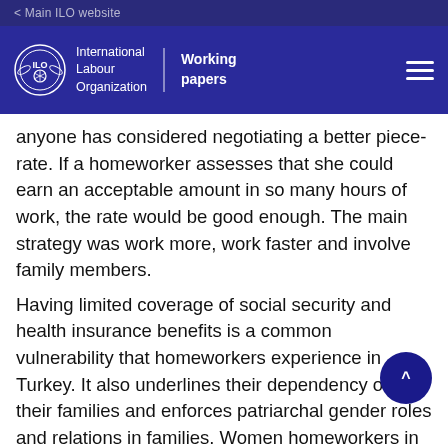< Main ILO website
[Figure (logo): ILO logo with emblem, International Labour Organization, Working papers text and hamburger menu on dark blue banner]
anyone has considered negotiating a better piece-rate. If a homeworker assesses that she could earn an acceptable amount in so many hours of work, the rate would be good enough. The main strategy was work more, work faster and involve family members.
Having limited coverage of social security and health insurance benefits is a common vulnerability that homeworkers experience in Turkey. It also underlines their dependency on their families and enforces patriarchal gender roles and relations in families. Women homeworkers in particular rely heavily on their husbands' social security coverage regardless of whether they have a higher income and professional skills or are home-based pieceworkers. Women homeworkers more than men, are dependent on their male family members for social security and health insurance. The male freelancers studied in this report were more vulnerable